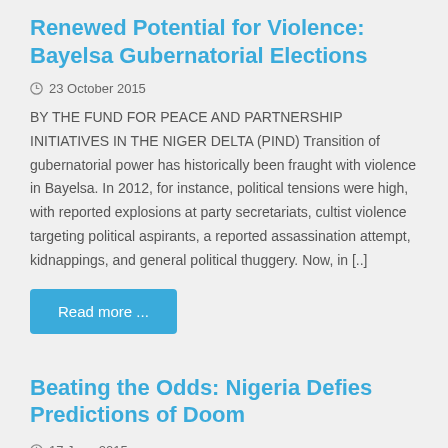Renewed Potential for Violence: Bayelsa Gubernatorial Elections
23 October 2015
BY THE FUND FOR PEACE AND PARTNERSHIP INITIATIVES IN THE NIGER DELTA (PIND) Transition of gubernatorial power has historically been fraught with violence in Bayelsa. In 2012, for instance, political tensions were high, with reported explosions at party secretariats, cultist violence targeting political aspirants, a reported assassination attempt, kidnappings, and general political thuggery. Now, in [..]
Read more ...
Beating the Odds: Nigeria Defies Predictions of Doom
17 June 2015